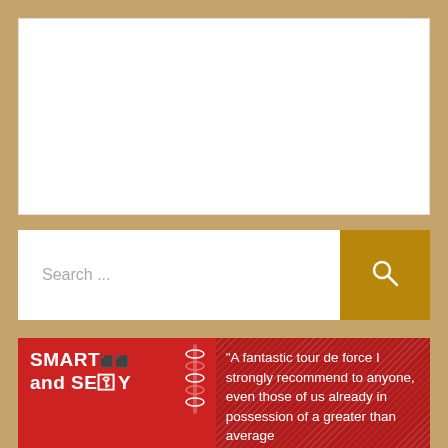[Figure (other): White content area placeholder at top of page]
[Figure (screenshot): Search bar with text 'Search ...' and an amber/gold search button with magnifying glass icon]
[Figure (illustration): Book cover for 'SMART and SEXY' on red background with DNA double helix illustration on left side, and on right side a quote: 'A fantastic tour de force I strongly recommend to anyone, even those of us already in possession of a greater than average']